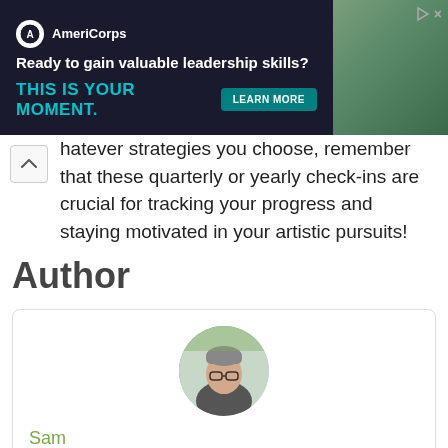[Figure (other): AmeriCorps advertisement banner. Text: 'Ready to gain valuable leadership skills? THIS IS YOUR MOMENT.' with a LEARN MORE button on teal background, and photo of people on the right.]
hatever strategies you choose, remember that these quarterly or yearly check-ins are crucial for tracking your progress and staying motivated in your artistic pursuits!
Author
[Figure (photo): Circular profile photo of Sam, a person with glasses and short hair, outdoors.]
Sam
Born in Rochester, NY, Sam has pursued creativity all life long through writing and